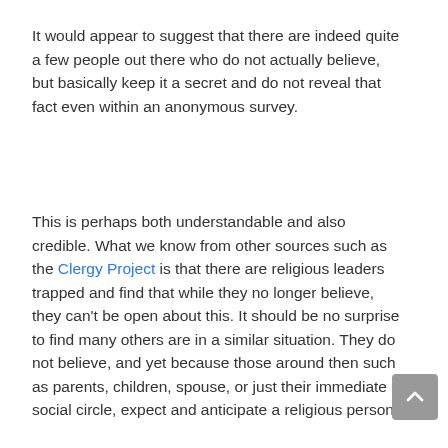It would appear to suggest that there are indeed quite a few people out there who do not actually believe, but basically keep it a secret and do not reveal that fact even within an anonymous survey.
This is perhaps both understandable and also credible. What we know from other sources such as the Clergy Project is that there are religious leaders trapped and find that while they no longer believe, they can't be open about this. It should be no surprise to find many others are in a similar situation. They do not believe, and yet because those around then such as parents, children, spouse, or just their immediate social circle, expect and anticipate a religious persona